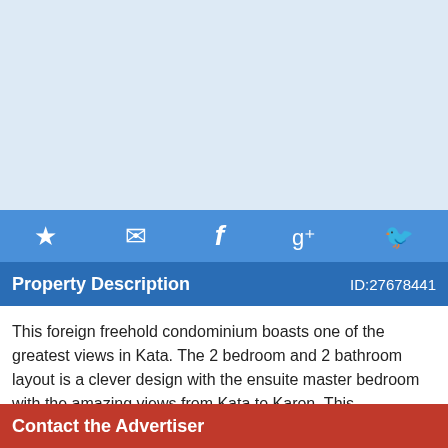[Figure (photo): Light blue placeholder image area representing a property photo]
[Figure (infographic): Social sharing icon bar with star (favorite), envelope (email), Facebook, Google+, and Twitter icons on blue background]
Property Description  ID:27678441
This foreign freehold condominium boasts one of the greatest views in Kata. The 2 bedroom and 2 bathroom layout is a clever design with the ensuite master bedroom with the amazing views from Kata to Karon. This condominium in particular is one of the high
Contact the Advertiser